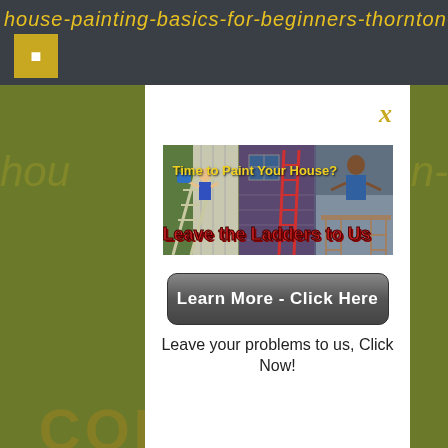house-painting-basics-for-beginners-thornton-color
[Figure (screenshot): A popup advertisement modal over a yellow-green background. The modal contains a composite photo of house painters on ladders with overlaid text 'Time to Paint Your House?' in yellow and 'Leave the Ladders to Us' in red, a dark gray 'Learn More - Click Here' button, and caption text 'Leave your problems to us, Click Now!']
Time to Paint Your House?
Leave the Ladders to Us
Learn More - Click Here
Leave your problems to us, Click Now!